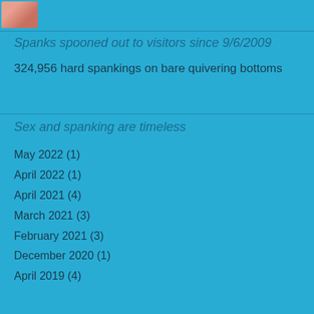[Figure (photo): Small thumbnail photo in top-left corner]
Spanks spooned out to visitors since 9/6/2009
324,956 hard spankings on bare quivering bottoms
Sex and spanking are timeless
May 2022 (1)
April 2022 (1)
April 2021 (4)
March 2021 (3)
February 2021 (3)
December 2020 (1)
April 2019 (4)